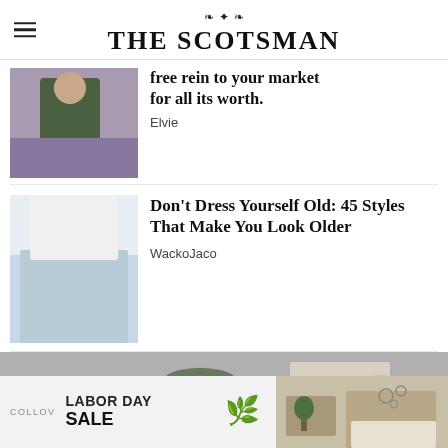THE SCOTSMAN
[Figure (photo): Person sitting on a chair, partial view, dark clothing, purple background — cropped article thumbnail]
free rein to your market for all its worth.
Elvie
[Figure (photo): Close-up of light blue pants/jeans from behind — article thumbnail]
Don't Dress Yourself Old: 45 Styles That Make You Look Older
WackoJaco
[Figure (photo): Man and woman at a desk, woman wearing a cap, man in dark jacket — large article image, partially visible]
[Figure (photo): Advertisement: COLLOV LABOR DAY SALE with decorative icon and room interior photo]
LABOR DAY SALE
COLLOV